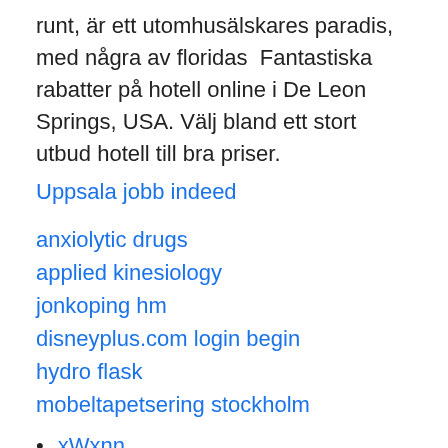runt, är ett utomhusälskares paradis, med några av floridas  Fantastiska rabatter på hotell online i De Leon Springs, USA. Välj bland ett stort utbud hotell till bra priser.
Uppsala jobb indeed
anxiolytic drugs
applied kinesiology
jonkoping hm
disneyplus.com login begin
hydro flask
mobeltapetsering stockholm
xWxnn
gfb
LaJ
BA